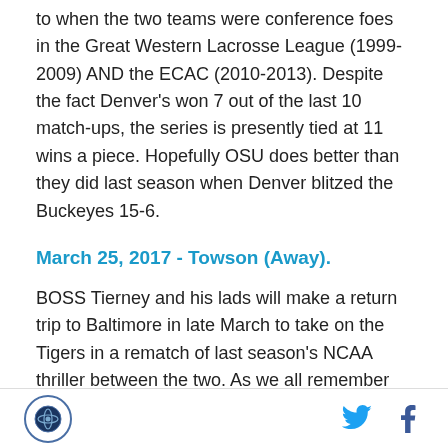to when the two teams were conference foes in the Great Western Lacrosse League (1999-2009) AND the ECAC (2010-2013). Despite the fact Denver's won 7 out of the last 10 match-ups, the series is presently tied at 11 wins a piece. Hopefully OSU does better than they did last season when Denver blitzed the Buckeyes 15-6.
March 25, 2017 - Towson (Away).
BOSS Tierney and his lads will make a return trip to Baltimore in late March to take on the Tigers in a rematch of last season's NCAA thriller between the two. As we all remember Towson stunned the Pioneers in Denver to short-circuit Denver's quest for back-to-
[Figure (logo): Circular logo with lacrosse-related emblem in dark blue]
[Figure (logo): Twitter bird icon in blue]
[Figure (logo): Facebook f icon in dark blue]